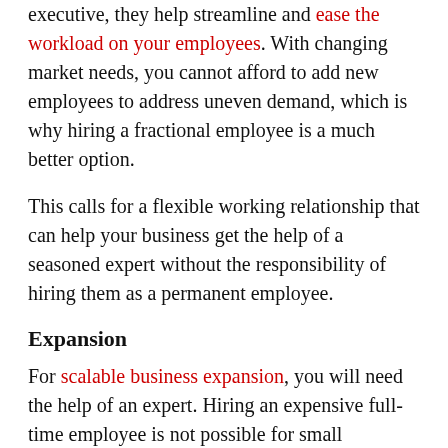executive, they help streamline and ease the workload on your employees. With changing market needs, you cannot afford to add new employees to address uneven demand, which is why hiring a fractional employee is a much better option.
This calls for a flexible working relationship that can help your business get the help of a seasoned expert without the responsibility of hiring them as a permanent employee.
Expansion
For scalable business expansion, you will need the help of an expert. Hiring an expensive full-time employee is not possible for small businesses, which leaves them with the option of hiring a fractional executive. A fractional executive will give your company the tools it